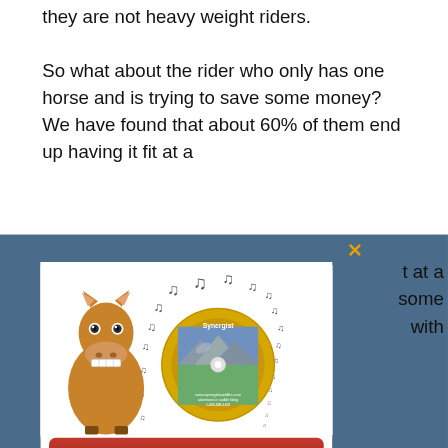they are not heavy weight riders.
So what about the rider who only has one horse and is trying to save some money? We have found that about 60% of them end up having it fit at a [some] [with]
[Figure (illustration): Advertisement popup overlay with dark blue background showing a DVD promotional ad. Features a cartoon horse with musical notes, a DVD disc with 'Synergist' label showing a mountain trail riding scene, and a red button reading 'Learn more with our FREE DVD!']
Do not show again
ne less (See the